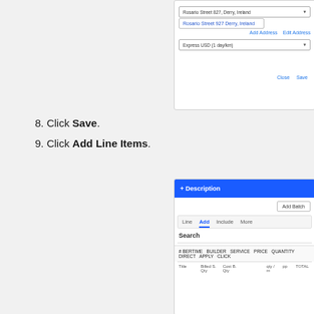[Figure (screenshot): UI screenshot showing a dropdown with address 'Rosario Street 827, Derry, Ireland' selected, a popup suggestion 'Rosario Street 927 Derry, Ireland', 'Add Address' and 'Edit Address' links, and an Express USD (1 day/km) shipping dropdown, with Close and Save buttons at bottom.]
8. Click Save.
9. Click Add Line Items.
[Figure (screenshot): UI screenshot showing a blue header bar labeled '+ Description', an Add button, a tab bar with 'Line', 'Add', 'Include', 'More' tabs with 'Add' underlined in blue, a 'Search' label, a product row with column headers 'Title', 'Billed S. Qty', 'Cost B. Qty', and a data row below.]